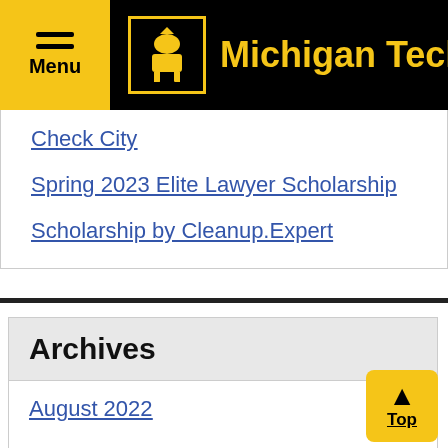Michigan Tech
Check City
Spring 2023 Elite Lawyer Scholarship
Scholarship by Cleanup.Expert
Archives
August 2022
July 2022
June 2022
April 2022